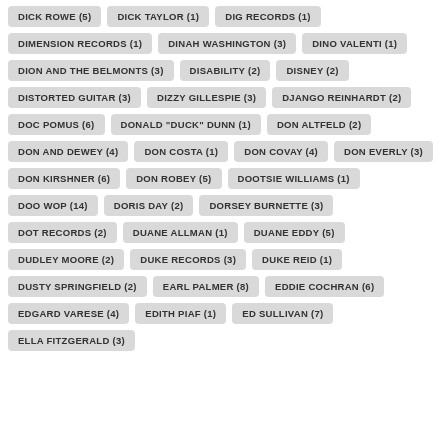DICK ROWE (5)
DICK TAYLOR (1)
DIG RECORDS (1)
DIMENSION RECORDS (1)
DINAH WASHINGTON (3)
DINO VALENTI (1)
DION AND THE BELMONTS (3)
DISABILITY (2)
DISNEY (2)
DISTORTED GUITAR (3)
DIZZY GILLESPIE (3)
DJANGO REINHARDT (2)
DOC POMUS (6)
DONALD "DUCK" DUNN (1)
DON ALTFELD (2)
DON AND DEWEY (4)
DON COSTA (1)
DON COVAY (4)
DON EVERLY (3)
DON KIRSHNER (6)
DON ROBEY (5)
DOOTSIE WILLIAMS (1)
DOO WOP (14)
DORIS DAY (2)
DORSEY BURNETTE (3)
DOT RECORDS (2)
DUANE ALLMAN (1)
DUANE EDDY (5)
DUDLEY MOORE (2)
DUKE RECORDS (3)
DUKE REID (1)
DUSTY SPRINGFIELD (2)
EARL PALMER (8)
EDDIE COCHRAN (6)
EDGARD VARESE (4)
EDITH PIAF (1)
ED SULLIVAN (7)
ELLA FITZGERALD (3)